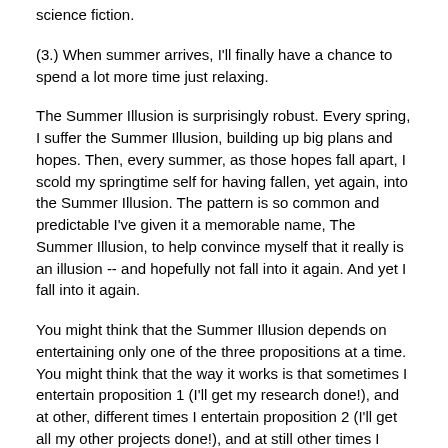science fiction.
(3.) When summer arrives, I'll finally have a chance to spend a lot more time just relaxing.
The Summer Illusion is surprisingly robust. Every spring, I suffer the Summer Illusion, building up big plans and hopes. Then, every summer, as those hopes fall apart, I scold my springtime self for having fallen, yet again, into the Summer Illusion. The pattern is so common and predictable I've given it a memorable name, The Summer Illusion, to help convince myself that it really is an illusion -- and hopefully not fall into it again. And yet I fall into it again.
You might think that the Summer Illusion depends on entertaining only one of the three propositions at a time. You might think that the way it works is that sometimes I entertain proposition 1 (I'll get my research done!), and at other, different times I entertain proposition 2 (I'll get all my other projects done!), and at still other times I entertain proposition 3 (I'll finally have lots of time to relax!). Largely this is so. And yet the Summer Illusion also survives simultaneous consideration of the three propositions. Even looking at the propositions side by side like this, I am tempted to believe them. Some part of me thinks of course all three can't be true, as I've seen time and time again -- and yet in my heart I continue to believe. Summer days expand so magnificently to fit my fantasies!